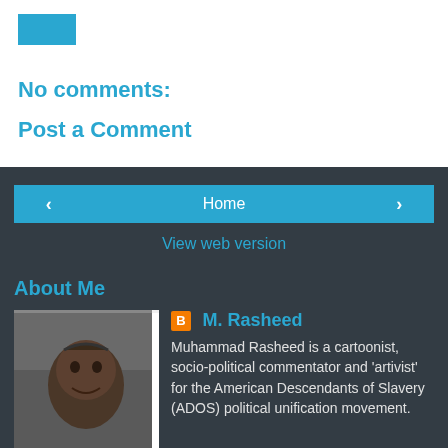[Figure (other): Blue button at top (partially visible)]
No comments:
Post a Comment
Home
View web version
About Me
[Figure (photo): Profile photo of M. Rasheed, a man smiling, wearing casual clothing]
M. Rasheed
Muhammad Rasheed is a cartoonist, socio-political commentator and 'artivist' for the American Descendants of Slavery (ADOS) political unification movement. His research interests include the anti-racism and pro-Reparations struggles of the Black American former slave class, its ties to antitrust law and the rise of the Second Gilded Age, with its White Supremacist Ideology effects. M. Rasheed's recent artivism effort is Weapon of the People: DECODED, a Gag-A-Day political